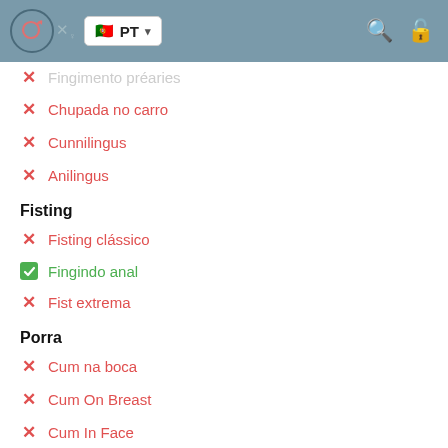PT
Fingimento préaries
Chupada no carro
Cunnilingus
Anilingus
Fisting
Fisting clássico
Fingindo anal
Fist extrema
Porra
Cum na boca
Cum On Breast
Cum In Face
Esporte aquático
Esportes aquáticos dando
Desportos náuticos